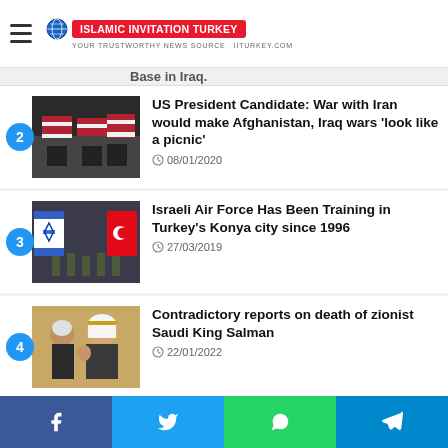Islamic Invitation Turkey
Base in Iraq.
2 - US President Candidate: War with Iran would make Afghanistan, Iraq wars 'look like a picnic' | 08/01/2020
3 - Israeli Air Force Has Been Training in Turkey's Konya city since 1996 | 27/03/2019
4 - Contradictory reports on death of zionist Saudi King Salman | 22/01/2022
5 - EXC: THE VIEWS OF PROMINENT IRANIAN CLERIC AYATOLLAH TASKHIRI ON PROMINENT SUNNI CLERIC USTAD BEDIUZZAMAN SAID NURSI
Facebook | Twitter | WhatsApp | Telegram